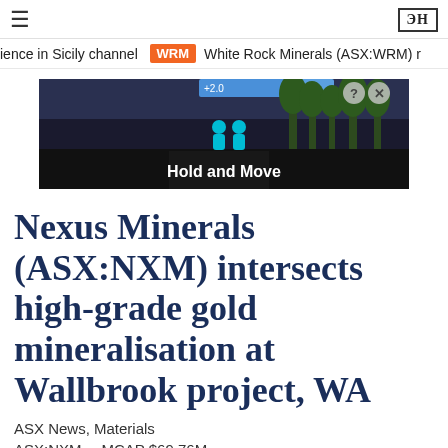≡   ЭН
ience in Sicily channel  WRM  White Rock Minerals (ASX:WRM) r
[Figure (screenshot): Advertisement banner with dark background showing trees and a figure with text 'Hold and Move']
Nexus Minerals (ASX:NXM) intersects high-grade gold mineralisation at Wallbrook project, WA
ASX News, Materials
ASX:NXM    MCAP $69.76M